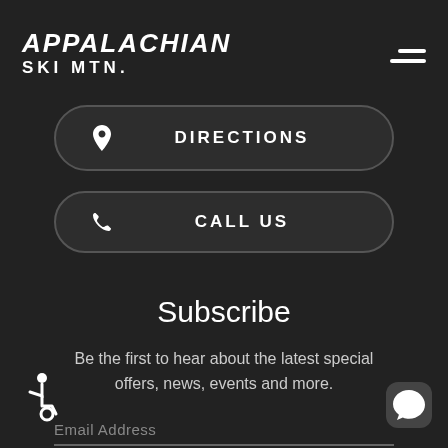APPALACHIAN SKI MTN.
DIRECTIONS
CALL US
Subscribe
Be the first to hear about the latest special offers, news, events and more.
Email Address